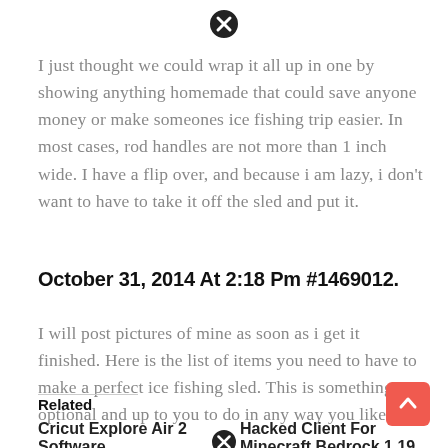[Figure (other): Close/dismiss button (circle with X) at top center]
I just thought we could wrap it all up in one by showing anything homemade that could save anyone money or make someones ice fishing trip easier. In most cases, rod handles are not more than 1 inch wide. I have a flip over, and because i am lazy, i don't want to have to take it off the sled and put it.
October 31, 2014 At 2:18 Pm #1469012.
I will post pictures of mine as soon as i get it finished. Here is the list of items you need to have to make a perfect ice fishing sled. This is something optional and up to you to do in any way you like.
Related
Cricut Explore Air 2 Software
Hacked Client For Minecraft Bedrock 1.19
[Figure (other): Scroll-to-top button (orange/red rounded square with upward arrow)]
[Figure (other): Close/dismiss button (circle with X) near bottom related section]